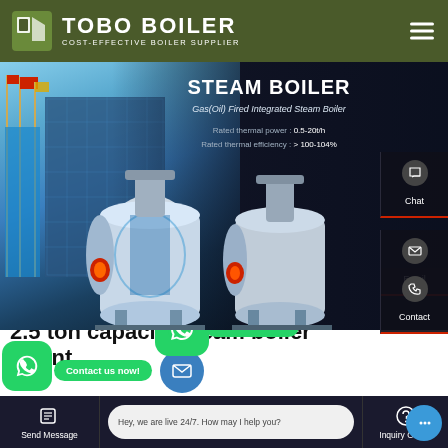TOBO BOILER — COST-EFFECTIVE BOILER SUPPLIER
[Figure (screenshot): Hero banner showing steam boiler products with building background. Title: STEAM BOILER. Subtitle: Gas(Oil) Fired Integrated Steam Boiler. Rated thermal power: 0.5-20t/h. Rated thermal efficiency: >100-104%.]
STEAM BOILER
Gas(Oil) Fired Integrated Steam Boiler
Rated thermal power : 0.5-20t/h
Rated thermal efficiency : > 100-104%
Chat
Email
Contact
2.5 ton capacity steam boiler Agent
Contact us now!
Contact us now!
Hey, we are live 24/7. How may I help you?
Send Message — Inquiry Online